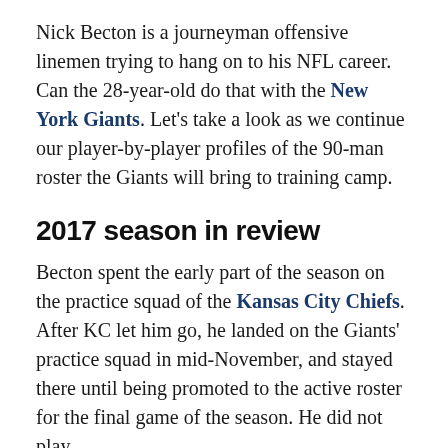Nick Becton is a journeyman offensive linemen trying to hang on to his NFL career. Can the 28-year-old do that with the New York Giants. Let's take a look as we continue our player-by-player profiles of the 90-man roster the Giants will bring to training camp.
2017 season in review
Becton spent the early part of the season on the practice squad of the Kansas City Chiefs. After KC let him go, he landed on the Giants' practice squad in mid-November, and stayed there until being promoted to the active roster for the final game of the season. He did not play.
2018 outlook
Becton entered the league with the San Diego